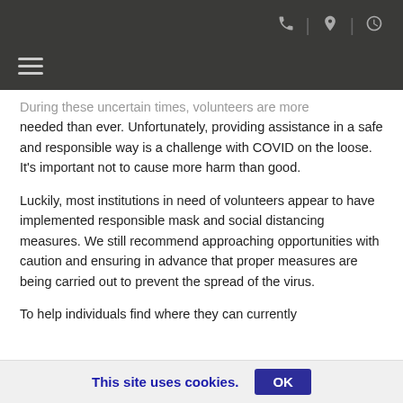Navigation bar with phone, location, and clock icons and hamburger menu
During these uncertain times, volunteers are more needed than ever. Unfortunately, providing assistance in a safe and responsible way is a challenge with COVID on the loose. It’s important not to cause more harm than good.
Luckily, most institutions in need of volunteers appear to have implemented responsible mask and social distancing measures. We still recommend approaching opportunities with caution and ensuring in advance that proper measures are being carried out to prevent the spread of the virus.
To help individuals find where they can currently
This site uses cookies. OK